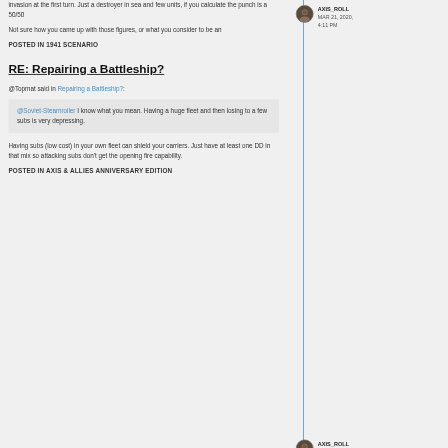invasion at the first turn. Just a destroyer in sea and few units, if you calculate the punch is a 50/50
Not sure how you came up with those figures, or what you consider to be an
POSTED IN 1941 SCENARIO
RE: Repairing a Battleship?
@Topmat said in Repairing a Battleship?:
@Soviet-Steamroller I know what you mean. Having a huge fleet and then losing to a few subs is very depressing.
Having subs (low cost) in your own fleet can shield your carriers. Just have at least one DD in that mix so attacking subs don't get the opening fire capability.
POSTED IN AXIS & ALLIES ANNIVERSARY EDITION
AXIS_ROLL
MAR 21, 2020, 4:11 PM
AXIS_ROLL
JAN 12, 2019, 11:29 PM